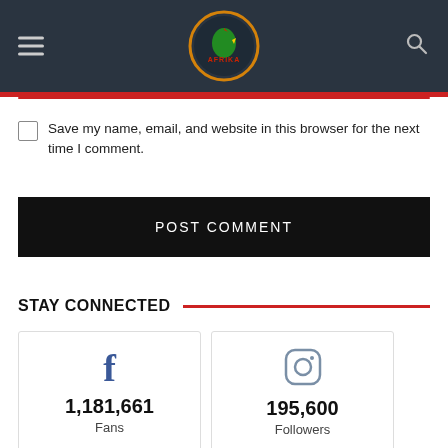[Figure (logo): I Love Afrika website header with circular logo on dark background, hamburger menu on left, search icon on right]
Save my name, email, and website in this browser for the next time I comment.
POST COMMENT
STAY CONNECTED
| Platform | Count | Label |
| --- | --- | --- |
| Facebook (f icon) | 1,181,661 | Fans |
| Instagram (camera icon) | 195,600 | Followers |